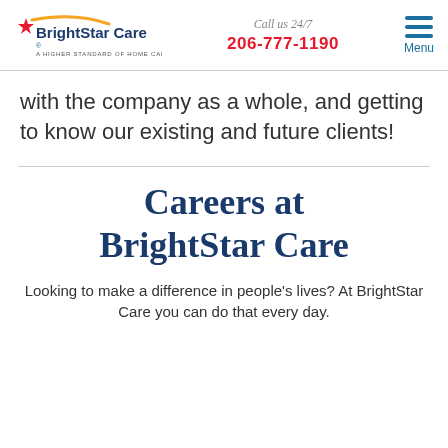BrightStar Care — A Higher Standard of Home Care | Call us 24/7 206-777-1190 | Menu
with the company as a whole, and getting to know our existing and future clients!
Careers at BrightStar Care
Looking to make a difference in people's lives? At BrightStar Care you can do that every day.